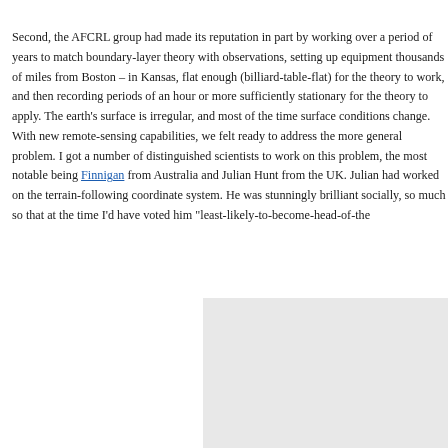Second, the AFCRL group had made its reputation in part by working over a period of years to match boundary-layer theory with observations, setting up equipment thousands of miles from Boston – in Kansas, flat enough (billiard-table-flat) for the theory to work, and then recording periods of an hour or more sufficiently stationary for the theory to apply. The earth's surface is irregular, and most of the time surface conditions change. With new remote-sensing capabilities, we felt ready to address the more general problem. I got a number of distinguished scientists to work on this problem, the most notable being Finnigan from Australia and Julian Hunt from the UK. Julian had worked on the terrain-following coordinate system. He was stunningly brilliant socially, so much so that at the time I'd have voted him "least-likely-to-become-head-of-the-
[Figure (other): Gray rectangle placeholder image in the bottom-right of the page]